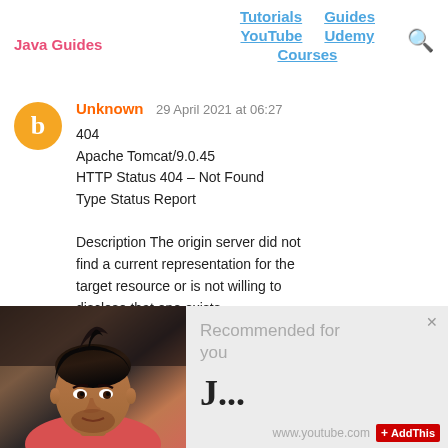Java Guides  Tutorials  Guides  YouTube  Udemy  Courses
Unknown  29 April 2021 at 06:27
404
Apache Tomcat/9.0.45
HTTP Status 404 – Not Found
Type Status Report

Description The origin server did not find a current representation for the target resource or is not willing to disclose that one exists.
[Figure (photo): Close-up photo of a young man with styled dark hair, wearing a pink shirt, looking at camera]
Recommended for you

J...

www.youtube.com  AddThis